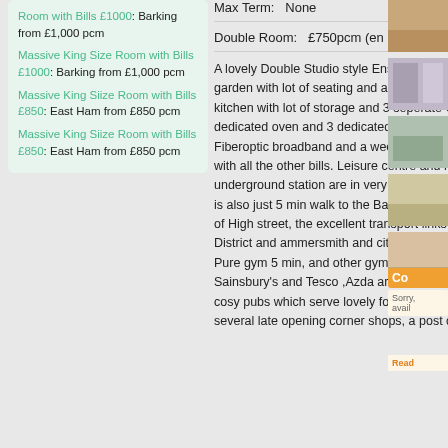Room with Bills £1000: Barking from £1,000 pcm
Massive King Size Room with Bills £1000: Barking from £1,000 pcm
Massive King Siize Room with Bills £850: East Ham from £850 pcm
Massive King Siize Room with Bills £850: East Ham from £850 pcm
Max Term:   None
Double Room:   £750pcm (en suite)
A lovely Double Studio style Ensuit room in a shared House with a garden with lot of seating and a table area fully equipped with Full kitchen with lot of storage and 3 seperate Cooking Hob along with dedicated oven and 3 dedicated kitchen sinks , Nice superfast Fiberoptic broadband and a weekly cleaner at your disposal along with all the other bills. Leisure centre and high street along with underground station are in very close proximity of the house . House is also just 5 min walk to the Barking Underground station with views of High street, the excellent transport links are also very near with District and ammersmith and city line junderground station 5 min, Pure gym 5 min, and other gym with swimming pool 2 min, Sainsbury's and Tesco ,Azda around the corner, there are a few cosy pubs which serve lovely food by the high street, a dry cleaner, several late opening corner shops, a post office. KIndly Note that all
[Figure (photo): Room photo 1 - brown/warm toned room image]
[Figure (photo): Room photo 2 - shelving/storage]
[Figure (photo): Room photo 3 - bedroom]
[Figure (photo): Room photo 4 - kitchen]
[Figure (photo): Room photo 5 - flooring]
Co...
Sorry, avail...
Read...